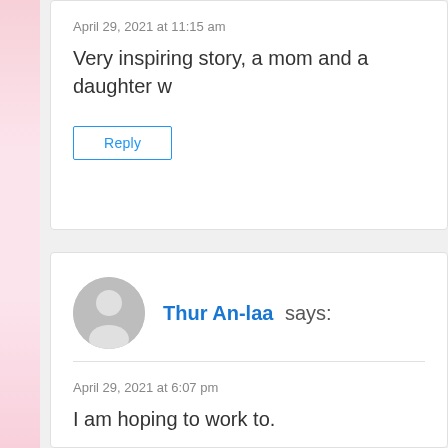April 29, 2021 at 11:15 am
Very inspiring story, a mom and a daughter w
Reply
Thur An-laa says:
April 29, 2021 at 6:07 pm
I am hoping to work to.